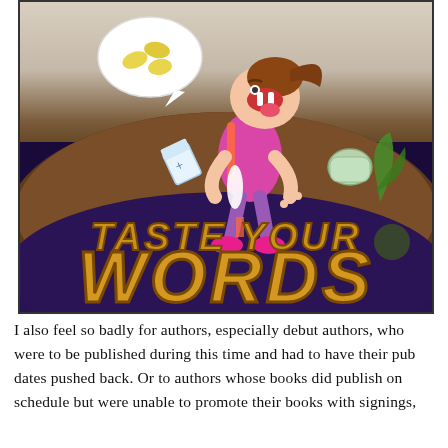[Figure (illustration): Book cover of 'Taste Your Words' showing a cartoon girl with a ponytail sticking out her tongue, standing on a mound of dirt/earth. She has a speech bubble with lemons. Various objects are scattered around including a milk carton and jar. The title 'TASTE YOUR WORDS' appears in large golden letters on a dark purple background.]
I also feel so badly for authors, especially debut authors, who were to be published during this time and had to have their pub dates pushed back. Or to authors whose books did publish on schedule but were unable to promote their books with signings,